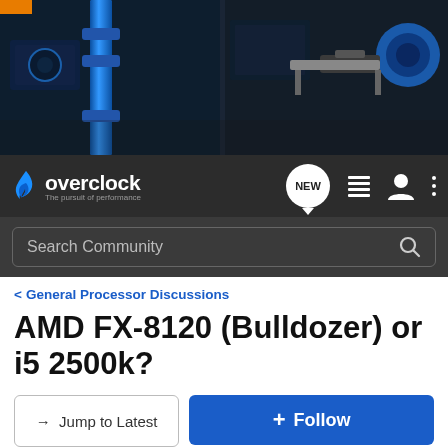[Figure (photo): Header photo of PC cooling hardware components including blue liquid cooling tubes, fans, and circuit boards with blue lighting]
overclock — The pursuit of performance
Search Community
< General Processor Discussions
AMD FX-8120 (Bulldozer) or i5 2500k?
→ Jump to Latest
+ Follow
1 - 14 of 14 Posts